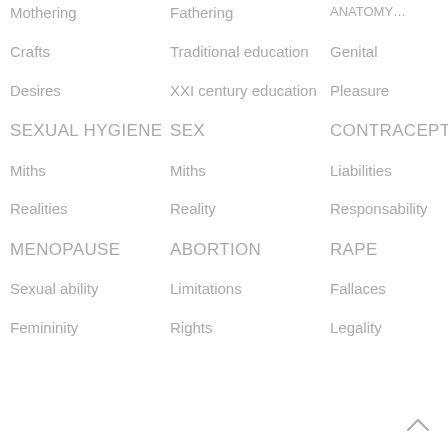Mothering
Fathering
ANATOMY…
Crafts
Traditional education
Genital
Desires
XXI century education
Pleasure
SEXUAL HYGIENE
SEX
CONTRACEPTION
Miths
Miths
Liabilities
Realities
Reality
Responsability
MENOPAUSE
ABORTION
RAPE
Sexual ability
Limitations
Fallaces
Femininity
Rights
Legality